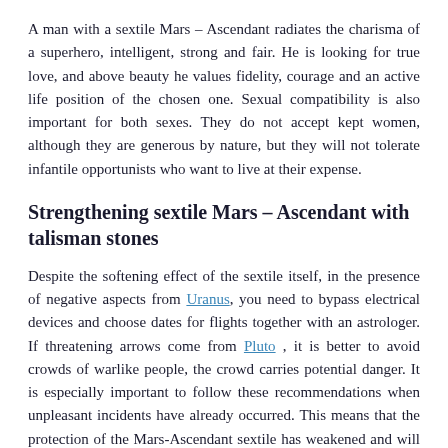A man with a sextile Mars – Ascendant radiates the charisma of a superhero, intelligent, strong and fair. He is looking for true love, and above beauty he values fidelity, courage and an active life position of the chosen one. Sexual compatibility is also important for both sexes. They do not accept kept women, although they are generous by nature, but they will not tolerate infantile opportunists who want to live at their expense.
Strengthening sextile Mars – Ascendant with talisman stones
Despite the softening effect of the sextile itself, in the presence of negative aspects from Uranus, you need to bypass electrical devices and choose dates for flights together with an astrologer. If threatening arrows come from Pluto , it is better to avoid crowds of warlike people, the crowd carries potential danger. It is especially important to follow these recommendations when unpleasant incidents have already occurred. This means that the protection of the Mars-Ascendant sextile has weakened and will continue to get worse. Stones-talismans corresponding to the elements in which the red planet stands will help to restore positive energy: